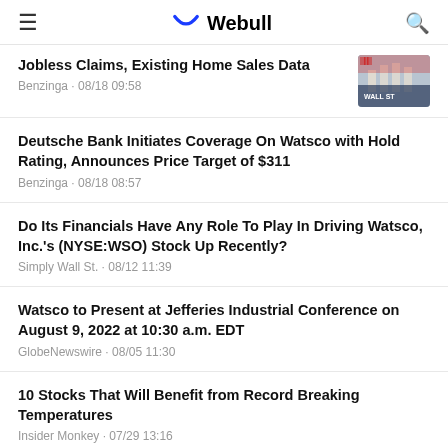Webull
Jobless Claims, Existing Home Sales Data
Benzinga · 08/18 09:58
Deutsche Bank Initiates Coverage On Watsco with Hold Rating, Announces Price Target of $311
Benzinga · 08/18 08:57
Do Its Financials Have Any Role To Play In Driving Watsco, Inc.'s (NYSE:WSO) Stock Up Recently?
Simply Wall St. · 08/12 11:39
Watsco to Present at Jefferies Industrial Conference on August 9, 2022 at 10:30 a.m. EDT
GlobeNewswire · 08/05 11:30
10 Stocks That Will Benefit from Record Breaking Temperatures
Insider Monkey · 07/29 13:16